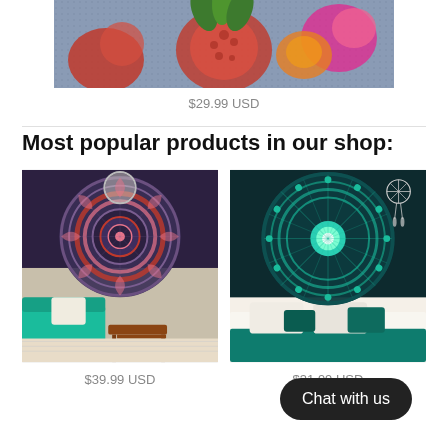[Figure (photo): Embroidered floral pillow with pink and red flowers on grey/blue background, partially visible at top of page]
$29.99 USD
Most popular products in our shop:
[Figure (photo): Purple/navy mandala tapestry hung on wall behind a teal sofa and wooden side table]
[Figure (photo): Teal/dark blue peacock mandala tapestry hung above a white bed with teal and white pillows]
$39.99 USD
$31.99 USD